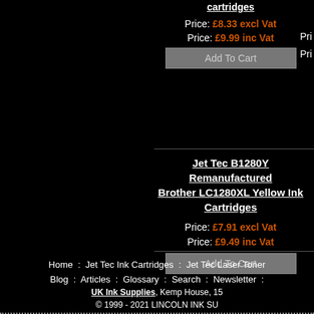cartridges
Price: £8.33 excl Vat
Price: £9.99 inc Vat
Add To Cart
Jet Tec B1280Y Remanufactured Brother LC1280XL Yellow Ink Cartridges
Price: £7.91 excl Vat
Price: £9.49 inc Vat
Add To Cart
Home : Jet Tec Ink Cartridges : Jet Tec Laser Toner Blog : Articles : Glossary : Search : Newsletter :
UK Ink Supplies, Kemp House, 15 © 1999 - 2021 LINCOLN INK SU UK Suppli